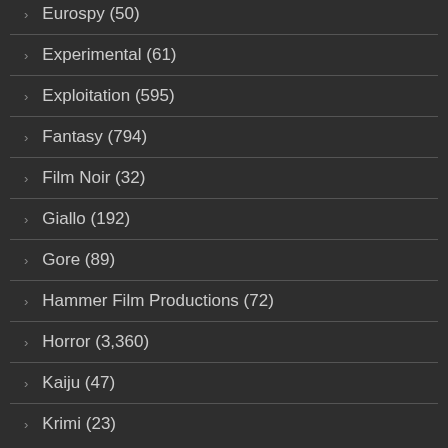Eurospy (50)
Experimental (61)
Exploitation (595)
Fantasy (794)
Film Noir (32)
Giallo (192)
Gore (89)
Hammer Film Productions (72)
Horror (3,360)
Kaiju (47)
Krimi (23)